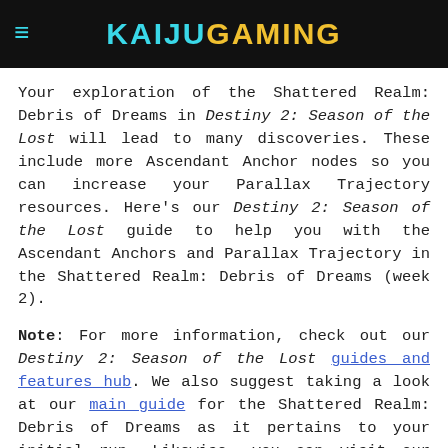KAIJUGAMING
Your exploration of the Shattered Realm: Debris of Dreams in Destiny 2: Season of the Lost will lead to many discoveries. These include more Ascendant Anchor nodes so you can increase your Parallax Trajectory resources. Here's our Destiny 2: Season of the Lost guide to help you with the Ascendant Anchors and Parallax Trajectory in the Shattered Realm: Debris of Dreams (week 2).
Note: For more information, check out our Destiny 2: Season of the Lost guides and features hub. We also suggest taking a look at our main guide for the Shattered Realm: Debris of Dreams as it pertains to your initial run. Likewise, you can visit our Enigmatic Mysteries/Trivial Mysteries guide since you'll be visiting nearby spots with these collectibles. Lastly, please remember that you need both the "Barrier Breach" and